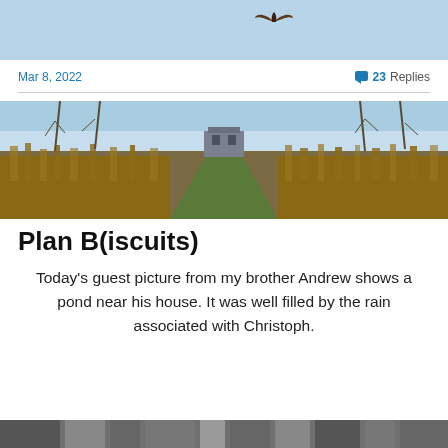[Figure (photo): Top portion of a photo showing light blue sky with a bird (raptor) silhouetted in flight, cut off at top of page]
Mar 8, 2022
💬 23 Replies
[Figure (photo): Wide landscape photo showing a path through reed beds leading to a bird hide or small building, surrounded by bare winter trees under a blue sky — a pond area near Andrew's house]
Plan B(iscuits)
Today's guest picture from my brother Andrew shows a pond near his house. It was well filled by the rain associated with Christoph.
[Figure (photo): Bottom strip of another photo, partially visible at the bottom edge of the page]